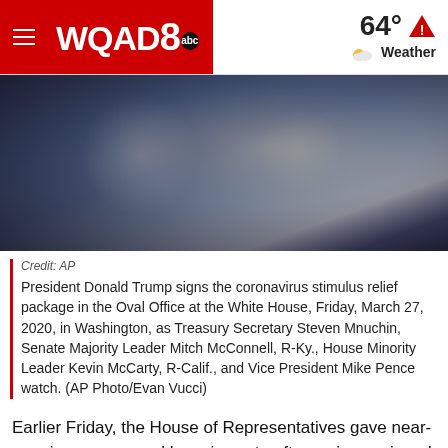WQAD8 abc — 64° Weather
[Figure (photo): Dark blurred photo of President Donald Trump signing a document in the Oval Office]
Credit: AP
President Donald Trump signs the coronavirus stimulus relief package in the Oval Office at the White House, Friday, March 27, 2020, in Washington, as Treasury Secretary Steven Mnuchin, Senate Majority Leader Mitch McConnell, R-Ky., House Minority Leader Kevin McCarty, R-Calif., and Vice President Mike Pence watch. (AP Photo/Evan Vucci)
Earlier Friday, the House of Representatives gave near-unanimous approval by voice vote after an impassioned session conducted along the social distancing guidelines